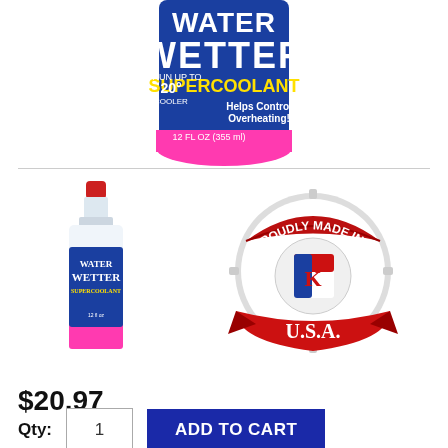[Figure (photo): Top portion of Red Line Water Wetter SuperCoolant bottle (12 fl oz / 355ml) with blue label and pink cap, cropped at the top]
[Figure (photo): Small full bottle of Red Line Water Wetter SuperCoolant with red cap and pink/blue label]
[Figure (illustration): Proudly Made in U.S.A. badge/seal with red ribbon banner and American flag logo]
$20.97
Qty: 1  ADD TO CART